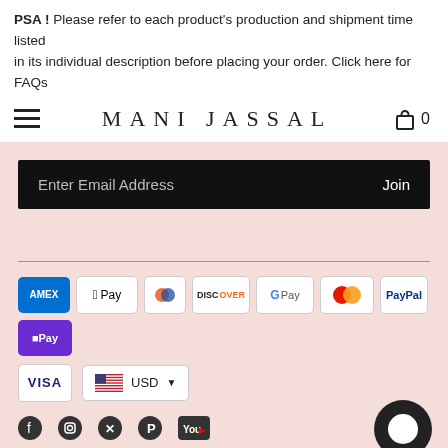PSA! Please refer to each product's production and shipment time listed in its individual description before placing your order. Click here for FAQs
MANI JASSAL
[Figure (screenshot): Email subscription bar with dark background, placeholder text 'Enter Email Address' and 'Join' button on the right]
[Figure (infographic): Payment method icons: American Express, Apple Pay, Diners Club, Discover, Google Pay, Mastercard, PayPal, ShopPay, Visa. Currency selector showing USD with US flag.]
[Figure (infographic): Social media icons row: Facebook, Instagram, Twitter/X, Pinterest, YouTube]